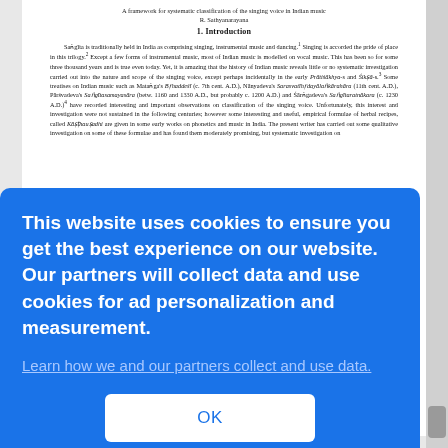A framework for systematic classification of the singing voice in Indian music
R. Sathyanarayana
1. Introduction
Saṅgīta is traditionally held in India as comprising singing, instrumental music and dancing. Singing is accorded the pride of place in this trilogy. Except a few forms of instrumental music, most of Indian music is modelled on vocal music. This has been so for some three thousand years and is true even today. Yet, it is amazing that the history of Indian music reveals little or no systematic investigation carried out into the nature and scope of the singing voice, except perhaps incidentally in the early Prātiśākhya-s and Śikṣā-s. Some treatises on Indian music such as Mataṅga's Bṛhaddeśī (c. 7th cent. A.D.), Nānyadeva's Sarasvatīhṛdayālaṅkārahāra (11th cent. A.D.), Pārśvadeva's Saṅgītasamayasāra (betw. 1160 and 1330 A.D., but probably c. 1200 A.D.) and Śārṅgadeva's Saṅgītaratnākara (c. 1230 A.D.) have recorded interesting and important observations on classification of the singing voice. Unfortunately, this interest and investigation were not sustained in the following centuries; however some interesting and useful, empirical formulae of herbal recipes, called Kāṣṭhauṣadhi are given in some early works on phonetics and music in India. The present writer has carried out some qualitative investigation on some of these formulae and has found them moderately promising, but systematic investigation on
This website uses cookies to ensure you get the best experience on our website. Our partners will collect data and use cookies for ad personalization and measurement.
Learn how we and our partners collect and use data.
OK